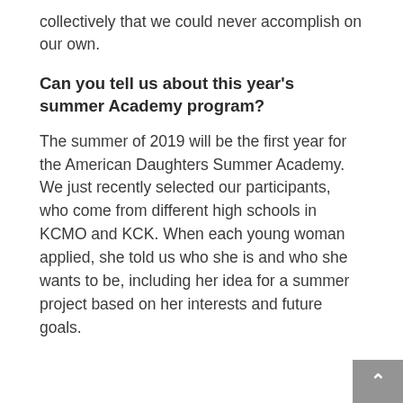collectively that we could never accomplish on our own.
Can you tell us about this year's summer Academy program?
The summer of 2019 will be the first year for the American Daughters Summer Academy. We just recently selected our participants, who come from different high schools in KCMO and KCK. When each young woman applied, she told us who she is and who she wants to be, including her idea for a summer project based on her interests and future goals.